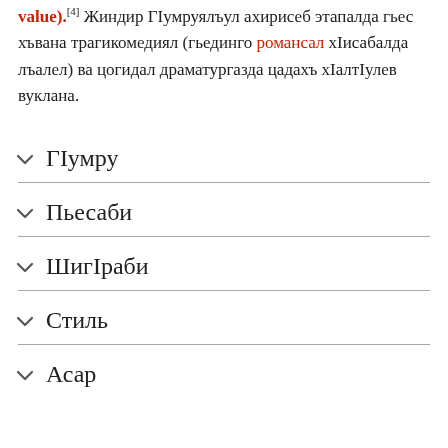value).[4] Жиндир ГIумруялъул ахирисеб этапалда гьес хъвана трагикомедиял (гьединго романсал хIисабалда лъалел) ва цогидал драматургазда цадахъ хIалтIулев вуклана.
ГIумру
Пьесаби
ШигIраби
Стиль
Асар